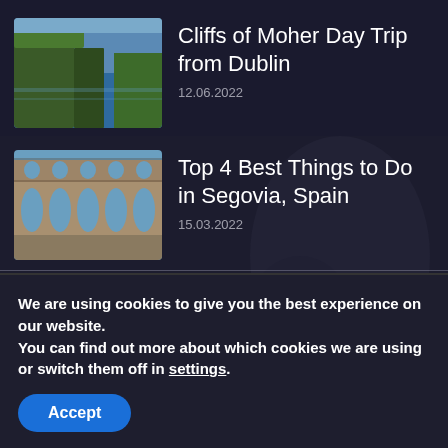[Figure (photo): Photo thumbnail of Cliffs of Moher — green cliffs against a blue ocean sky]
Cliffs of Moher Day Trip from Dublin
12.06.2022
[Figure (photo): Photo thumbnail of the Roman aqueduct in Segovia, Spain — stone arches against a blue sky]
Top 4 Best Things to Do in Segovia, Spain
15.03.2022
POPULAR ARTICLES
We are using cookies to give you the best experience on our website.
You can find out more about which cookies we are using or switch them off in settings.
Accept